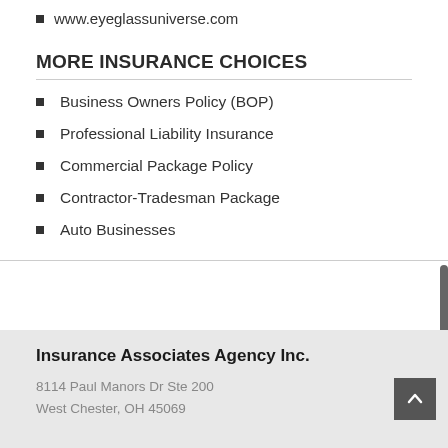www.eyeglassuniverse.com
MORE INSURANCE CHOICES
Business Owners Policy (BOP)
Professional Liability Insurance
Commercial Package Policy
Contractor-Tradesman Package
Auto Businesses
Insurance Associates Agency Inc.
8114 Paul Manors Dr Ste 200
West Chester, OH 45069